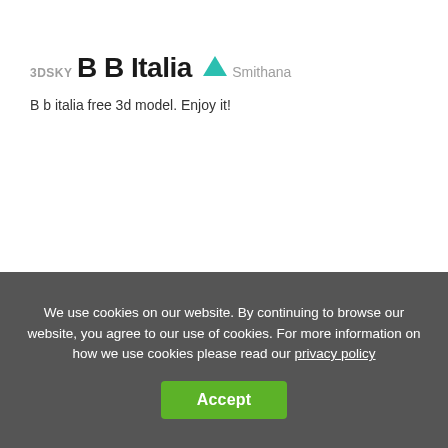3DSKY
B B Italia ▲
Smithana
B b italia free 3d model. Enjoy it!
We use cookies on our website. By continuing to browse our website, you agree to our use of cookies. For more information on how we use cookies please read our privacy policy
Accept